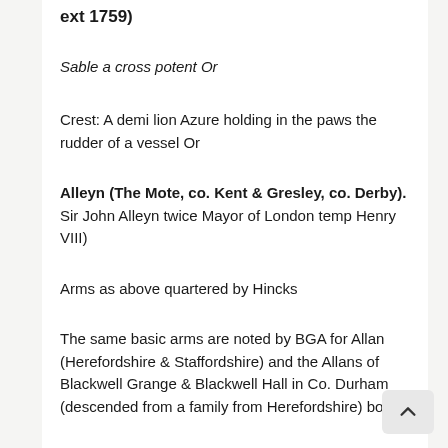ext 1759)
Sable a cross potent Or
Crest: A demi lion Azure holding in the paws the rudder of a vessel Or
Alleyn (The Mote, co. Kent & Gresley, co. Derby). Sir John Alleyn twice Mayor of London temp Henry VIII)
Arms as above quartered by Hincks
The same basic arms are noted by BGA for Allan (Herefordshire & Staffordshire) and the Allans of Blackwell Grange & Blackwell Hall in Co. Durham (descended from a family from Herefordshire) bore a